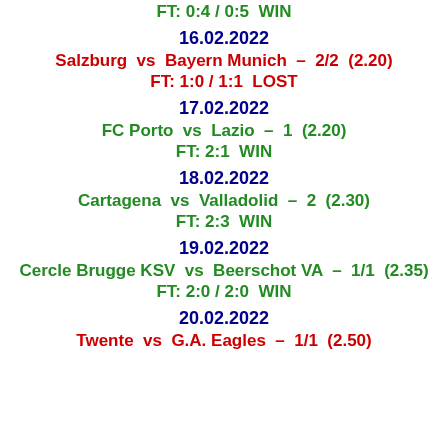FT: 0:4 / 0:5  WIN
16.02.2022
Salzburg vs Bayern Munich – 2/2 (2.20)
FT: 1:0 / 1:1  LOST
17.02.2022
FC Porto vs Lazio – 1 (2.20)
FT: 2:1  WIN
18.02.2022
Cartagena vs Valladolid – 2 (2.30)
FT: 2:3  WIN
19.02.2022
Cercle Brugge KSV vs Beerschot VA – 1/1 (2.35)
FT: 2:0 / 2:0  WIN
20.02.2022
Twente vs G.A. Eagles – 1/1 (2.50)